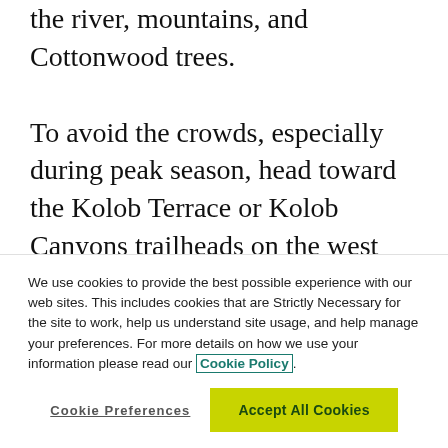the river, mountains, and Cottonwood trees.
To avoid the crowds, especially during peak season, head toward the Kolob Terrace or Kolob Canyons trailheads on the west side of the park, away from the valley. The 5-mile Taylor Creek Trail takes hikers through a
We use cookies to provide the best possible experience with our web sites. This includes cookies that are Strictly Necessary for the site to work, help us understand site usage, and help manage your preferences. For more details on how we use your information please read our Cookie Policy.
Cookie Preferences
Accept All Cookies